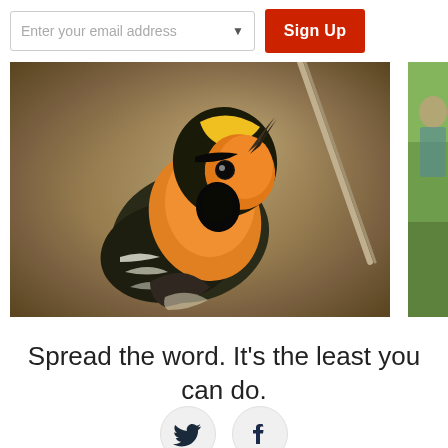Enter your email address
Sign Up
[Figure (photo): Close-up photo of a Blackburnian warbler bird with bright yellow-orange plumage and dark streaked wings, perched near a thin branch against a blurred warm background.]
[Figure (photo): Partial view of a second image on the right edge, showing green/natural background tones.]
Spread the word. It’s the least you can do.
[Figure (infographic): Twitter bird icon in a light grey circle]
[Figure (infographic): Facebook 'f' icon in a light grey circle]